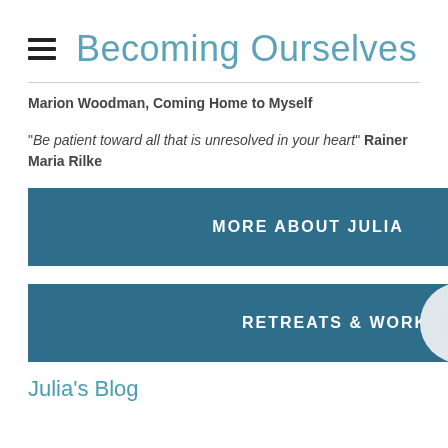Becoming Ourselves
Marion Woodman, Coming Home to Myself
"Be patient toward all that is unresolved in your heart" Rainer Maria Rilke
MORE ABOUT JULIA
RETREATS & WORKSHOPS
Julia's Blog